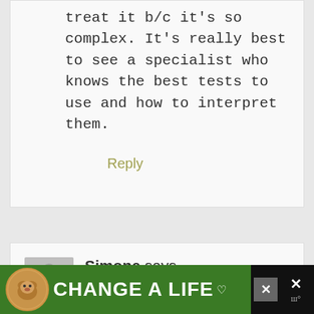treat it b/c it's so complex. It's really best to see a specialist who knows the best tests to use and how to interpret them.
Reply
Simone says
January 21, 2017 at 10:43
[Figure (other): Advertisement banner: 'CHANGE A LIFE' with dog image on green background]